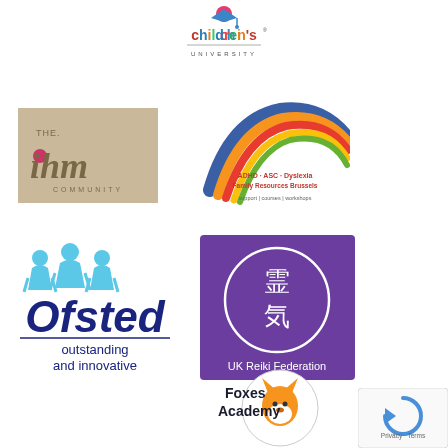[Figure (logo): Children's University logo with colorful text and figure icon at top center]
[Figure (logo): THE ihm COMMUNITY logo - beige/tan background with dot over i in red]
[Figure (logo): ADHD - ASC - Dyslexia Family Resources Brussels logo with colorful rainbow arch]
[Figure (logo): Ofsted outstanding and innovative logo with star figures and navy text]
[Figure (logo): UK Reiki Federation logo - purple square with Japanese kanji characters in white circle]
[Figure (logo): Foxes Academy logo with fox mascot illustration in circular badge]
[Figure (logo): Google reCAPTCHA Privacy Terms badge in bottom right corner]